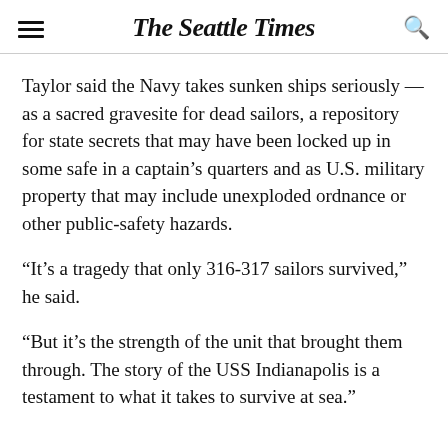The Seattle Times
Taylor said the Navy takes sunken ships seriously — as a sacred gravesite for dead sailors, a repository for state secrets that may have been locked up in some safe in a captain's quarters and as U.S. military property that may include unexploded ordnance or other public-safety hazards.
“It’s a tragedy that only 316-317 sailors survived,” he said.
“But it’s the strength of the unit that brought them through. The story of the USS Indianapolis is a testament to what it takes to survive at sea.”